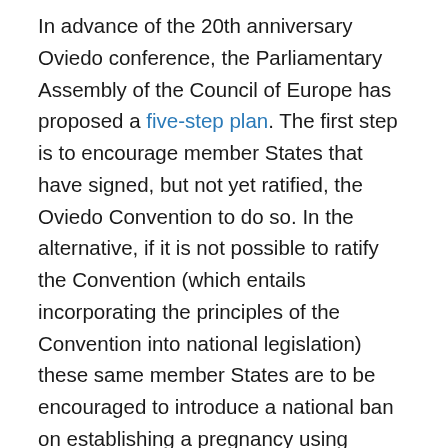In advance of the 20th anniversary Oviedo conference, the Parliamentary Assembly of the Council of Europe has proposed a five-step plan. The first step is to encourage member States that have signed, but not yet ratified, the Oviedo Convention to do so. In the alternative, if it is not possible to ratify the Convention (which entails incorporating the principles of the Convention into national legislation) these same member States are to be encouraged to introduce a national ban on establishing a pregnancy using germline cells or human embryos that have been genetically modified. The second step is to foster “a broad and informed public debate.”
The first step recommended by the Parliamentary Assembly is an effort to maintain the status quo (to prevent the clinical use of “germline editing”) so that the second step, which highlights the need for robust debate